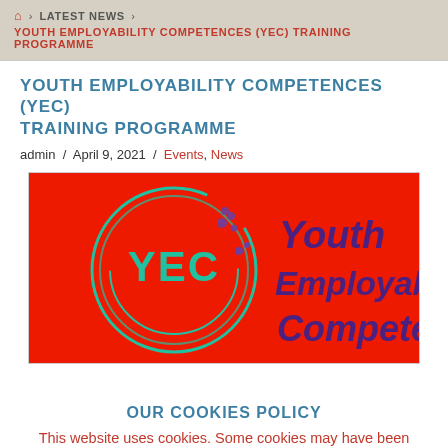🏠 > LATEST NEWS > YOUTH EMPLOYABILITY COMPETENCES (YEC) TRAINING PROGRAMME
YOUTH EMPLOYABILITY COMPETENCES (YEC) TRAINING PROGRAMME
admin / April 9, 2021 / Events, News
[Figure (logo): YEC Youth Employability Competences logo on red background with teal circular design and purple text]
OUR COOKIES POLICY
This website uses cookies. Some cookies may have been set already. To find out more about our use of cookies